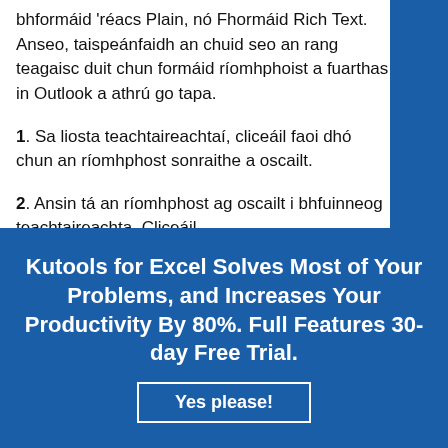bhformáid 'réacs Plain, nó Fhormáid Rich Text. Anseo, taispeánfaidh an chuid seo an rang teagaisc duit chun formáid ríomhphoist a fuarthas in Outlook a athrú go tapa.
1. Sa liosta teachtaireachtaí, cliceáil faoi dhó chun an ríomhphost sonraithe a oscailt.
2. Ansin tá an ríomhphost ag oscailt i bhfuinneog teachtaireachta. Cliceáil
[Figure (infographic): Blue advertisement banner: 'Kutools for Excel Solves Most of Your Problems, and Increases Your Productivity By 80%. Full Features 30-day Free Trial.' with a 'Yes please!' button]